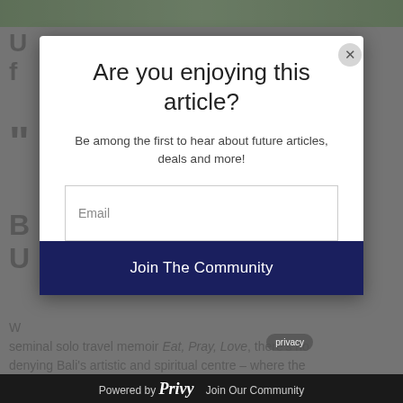[Figure (screenshot): Background of a webpage with an article about travel, partially visible behind a modal overlay.]
Are you enjoying this article?
Be among the first to hear about future articles, deals and more!
Email
Join The Community
Powered by Privy  Join Our Community